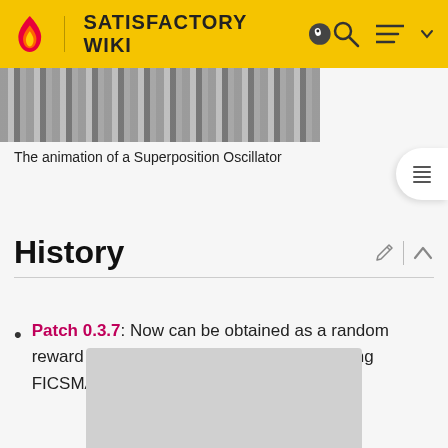SATISFACTORY WIKI
[Figure (photo): Partial view of animated Superposition Oscillator device]
The animation of a Superposition Oscillator
History
Patch 0.3.7: Now can be obtained as a random reward from the HUB Advent Calendar during FICSMAS
[Figure (photo): Partially visible image placeholder at bottom of page]